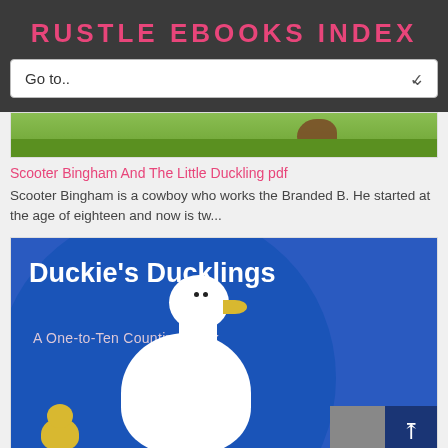RUSTLE EBOOKS INDEX
Go to..
[Figure (illustration): Partial view of a book cover with green and brown elements]
Scooter Bingham And The Little Duckling pdf
Scooter Bingham is a cowboy who works the Branded B. He started at the age of eighteen and now is tw...
[Figure (illustration): Book cover for Duckie's Ducklings: A One-to-Ten Counting Book, showing a white duck and yellow ducklings on a blue background]